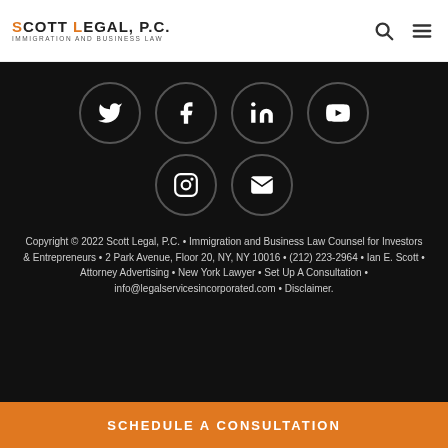[Figure (logo): Scott Legal, P.C. logo with text 'IMMIGRATION AND BUSINESS LAW']
[Figure (illustration): Six social media icons: Twitter, Facebook, LinkedIn, YouTube, Instagram, Email — white on dark circle outlines]
Copyright © 2022 Scott Legal, P.C. • Immigration and Business Law Counsel for Investors & Entrepreneurs • 2 Park Avenue, Floor 20, NY, NY 10016 • (212) 223-2964 • Ian E. Scott • Attorney Advertising • New York Lawyer • Set Up A Consultation • info@legalservicesincorporated.com • Disclaimer.
SCHEDULE A CONSULTATION